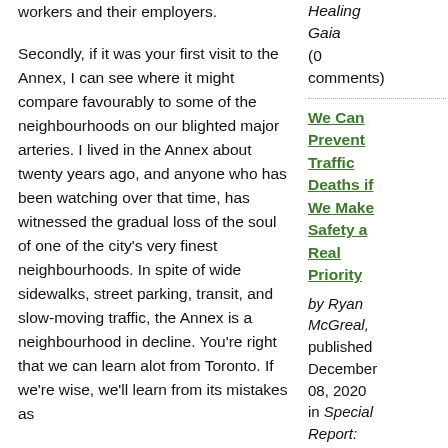workers and their employers.
Secondly, if it was your first visit to the Annex, I can see where it might compare favourably to some of the neighbourhoods on our blighted major arteries. I lived in the Annex about twenty years ago, and anyone who has been watching over that time, has witnessed the gradual loss of the soul of one of the city's very finest neighbourhoods. In spite of wide sidewalks, street parking, transit, and slow-moving traffic, the Annex is a neighbourhood in decline. You're right that we can learn alot from Toronto. If we're wise, we'll learn from its mistakes as
Healing Gaia (0 comments)
We Can Prevent Traffic Deaths if We Make Safety a Real Priority
by Ryan McGreal, published December 08, 2020 in Special Report: Walkable Streets (5 comments)